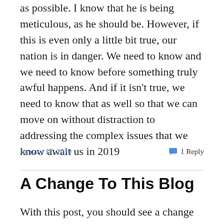as possible.  I know that he is being meticulous, as he should be.  However, if this is even only a little bit true, our nation is in danger.  We need to know and we need to know before something truly awful happens.  And if it isn't true, we need to know that as well so that we can move on without distraction to addressing the complex issues that we know await us in 2019
January 17, 2019
1 Reply
A Change To This Blog
With this post, you should see a change in the presentation of this blog.  In reviewing recent posts, it